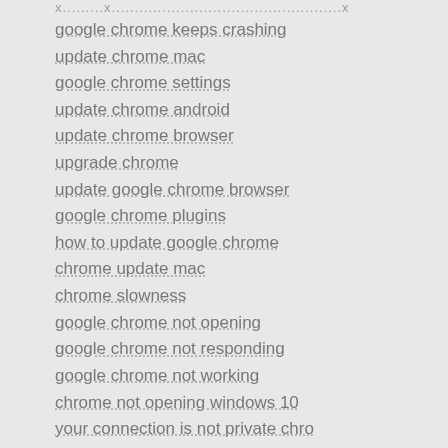google chrome keeps crashing
update chrome mac
google chrome settings
update chrome android
update chrome browser
upgrade chrome
update google chrome browser
google chrome plugins
how to update google chrome
chrome update mac
chrome slowness
google chrome not opening
google chrome not responding
google chrome not working
chrome not opening windows 10
your connection is not private chro...
your connection is not private chron...
chrome help
get chrome
get google chrome
google chrome update free downloa...
chrome update download
google chrome download for windo...
download google chrome for windo...